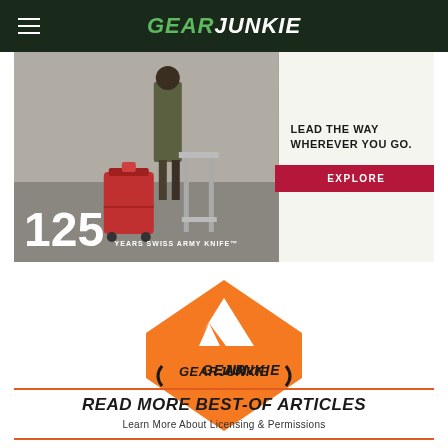GEAR JUNKIE
[Figure (photo): Advertisement for Victorinox (Swiss Army Knife 125 years) showing a red suitcase and traveler, with tagline 'LEAD THE WAY WHEREVER YOU GO.' and an EXPLORE button]
[Figure (logo): GearJunkie Best Of badge logo — orange diamond shape with mountain silhouette, text GEAR JUNKIE BEST OF]
READ MORE BEST-OF ARTICLES
Learn More About Licensing & Permissions